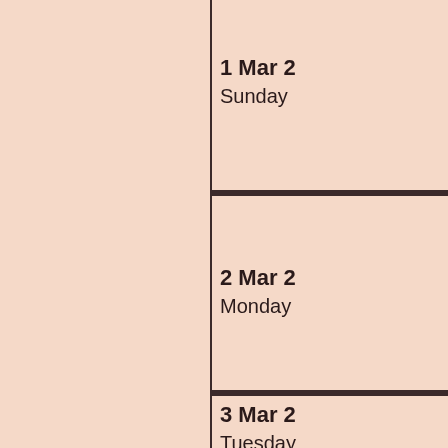1 Mar 2
Sunday
2 Mar 2
Monday
3 Mar 2
Tuesday